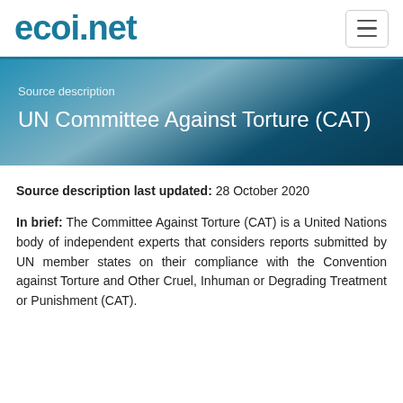ecoi.net
UN Committee Against Torture (CAT)
Source description
Source description last updated: 28 October 2020
In brief: The Committee Against Torture (CAT) is a United Nations body of independent experts that considers reports submitted by UN member states on their compliance with the Convention against Torture and Other Cruel, Inhuman or Degrading Treatment or Punishment (CAT).